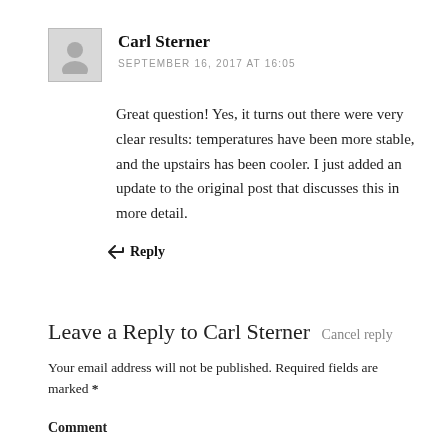[Figure (illustration): Avatar/profile picture placeholder — a grey square with a generic user silhouette icon]
Carl Sterner
SEPTEMBER 16, 2017 AT 16:05
Great question! Yes, it turns out there were very clear results: temperatures have been more stable, and the upstairs has been cooler. I just added an update to the original post that discusses this in more detail.
↩ Reply
Leave a Reply to Carl Sterner Cancel reply
Your email address will not be published. Required fields are marked *
Comment